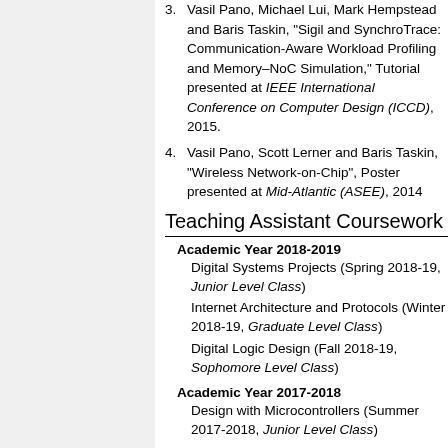3. Vasil Pano, Michael Lui, Mark Hempstead and Baris Taskin, "Sigil and SynchroTrace: Communication-Aware Workload Profiling and Memory–NoC Simulation," Tutorial presented at IEEE International Conference on Computer Design (ICCD), 2015.
4. Vasil Pano, Scott Lerner and Baris Taskin, "Wireless Network-on-Chip", Poster presented at Mid-Atlantic (ASEE), 2014
Teaching Assistant Coursework
Academic Year 2018-2019
Digital Systems Projects (Spring 2018-19, Junior Level Class)
Internet Architecture and Protocols (Winter 2018-19, Graduate Level Class)
Digital Logic Design (Fall 2018-19, Sophomore Level Class)
Academic Year 2017-2018
Design with Microcontrollers (Summer 2017-2018, Junior Level Class)